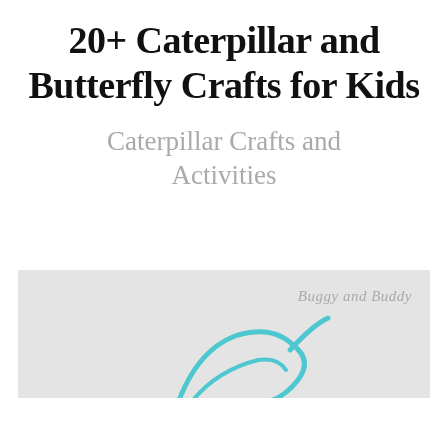20+ Caterpillar and Butterfly Crafts for Kids
Caterpillar Crafts and Activities
[Figure (photo): A light gray background image showing a teal/turquoise yarn or string shaped into a caterpillar-like curved form. A watermark reads 'Buggy and Buddy' in italic gray text in the upper right.]